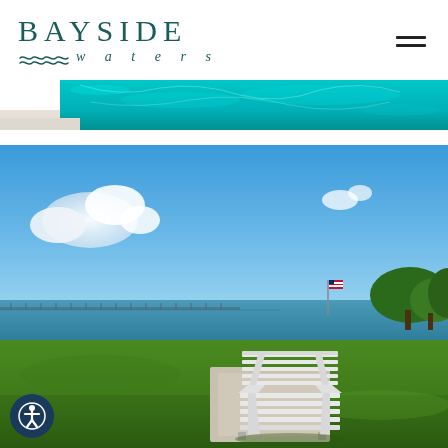BAYSIDE waters
[Figure (photo): Partial view of a swimming pool with turquoise water, seen from above at an angle, with white pool edge visible at bottom.]
[Figure (photo): Outdoor park scene with a white metal bench on a concrete pad, lush green lawn, bay/water in the background, blue sky with scattered clouds, an American flag visible in the distance, and trees on the right.]